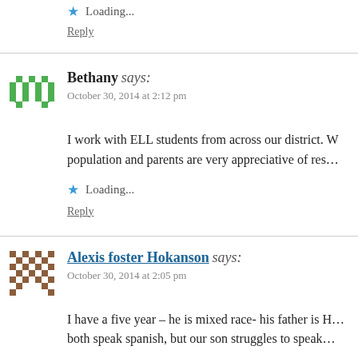Loading...
Reply
Bethany says:
October 30, 2014 at 2:12 pm
I work with ELL students from across our district. W… population and parents are very appreciative of res…
Loading...
Reply
Alexis foster Hokanson says:
October 30, 2014 at 2:05 pm
I have a five year – he is mixed race- his father is H… both speak spanish, but our son struggles to speak…